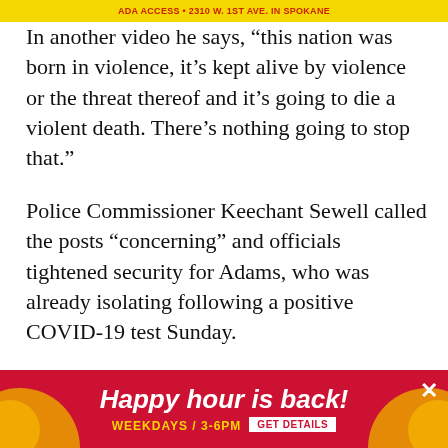ADA ACCESS • 2310 W. 1st Ave. in Spokane
In another video he says, “this nation was born in violence, it’s kept alive by violence or the threat thereof and it’s going to die a violent death. There’s nothing going to stop that.”
Police Commissioner Keechant Sewell called the posts “concerning” and officials tightened security for Adams, who was already isolating following a positive COVID-19 test Sunday.
Several of James’ videos mention New York’s subways. A Feb. 20 video says the mayor and governor’s plan to address homelessness and safety in the subway system “is doomed for failure” and refers to himself as a “victim” … n. 25 video d…
[Figure (other): Advertisement banner: Happy hour is back! Weekdays / 3-6pm GET DETAILS, red background with yellow decorative graphics]